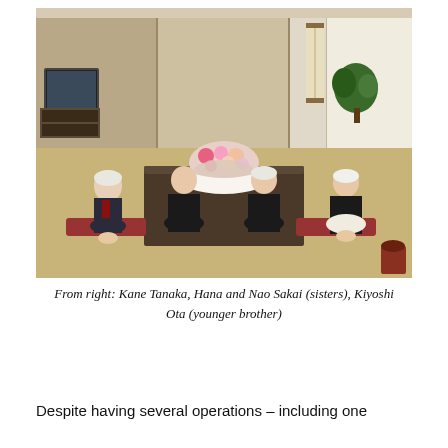[Figure (photo): A photograph of four elderly Japanese people seated in a traditional Japanese room (washitsu) with tatami mats. From right to left: Kane Tanaka (oldest, in dark kimono), Hana and Nao Sakai (sisters, in kimonos), and Kiyoshi Ota (younger brother, in Western suit). There is a low table in the center with a large flower bouquet. A TV, scrolls, and decorative plants are visible in the background.]
From right: Kane Tanaka, Hana and Nao Sakai (sisters), Kiyoshi Ota (younger brother)
Despite having several operations – including one